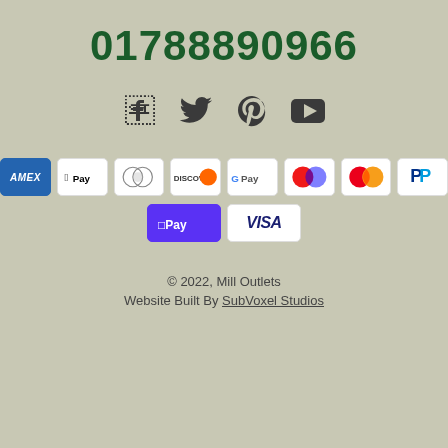01788890966
[Figure (infographic): Social media icons: Facebook, Twitter, Pinterest, YouTube]
[Figure (infographic): Payment method badges: AMEX, Apple Pay, Diners, Discover, Google Pay, Maestro, Mastercard, PayPal, Shop Pay, Visa]
© 2022, Mill Outlets Website Built By SubVoxel Studios